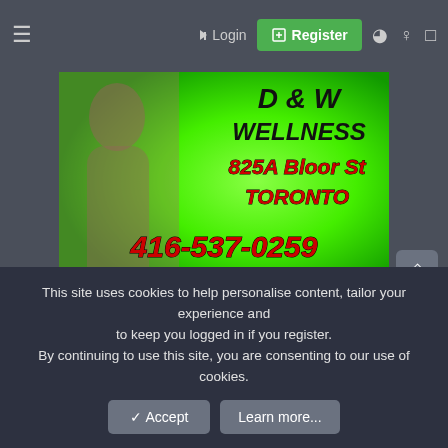≡  →] Login  ⊞ Register  ◑ ♀ ▣
[Figure (photo): Advertisement for B&W Wellness at 825A Bloor St, Toronto. Phone: 416-537-0259. Green glowing background with stylized text and a woman in a white dress on the left.]
[Figure (photo): Advertisement for Winnie Sha with cursive white text on a pink/purple gradient background, with a woman's face on the left.]
This site uses cookies to help personalise content, tailor your experience and to keep you logged in if you register.
By continuing to use this site, you are consenting to our use of cookies.
✓ Accept
Learn more...